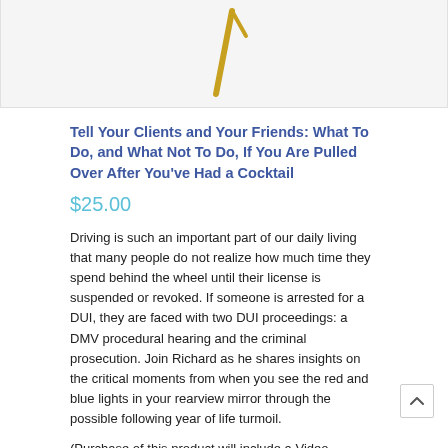[Figure (illustration): Partial view of a decorative logo or graphic with a gold diagonal element on a white/light gray background]
Tell Your Clients and Your Friends: What To Do, and What Not To Do, If You Are Pulled Over After You've Had a Cocktail
$25.00
Driving is such an important part of our daily living that many people do not realize how much time they spend behind the wheel until their license is suspended or revoked. If someone is arrested for a DUI, they are faced with two DUI proceedings: a DMV procedural hearing and the criminal prosecution. Join Richard as he shares insights on the critical moments from when you see the red and blue lights in your rearview mirror through the possible following year of life turmoil.
(Purchase of this product will include a Video recording, an Audio recording, and a PDF copy of the presentation.)